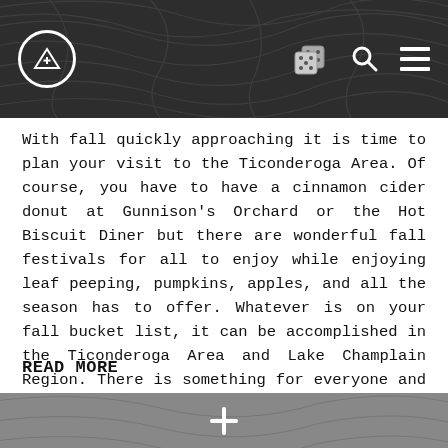[Figure (screenshot): Dark navigation header bar with topographic map line texture, featuring a circle-triangle logo icon on the left and dice, search, and menu icons on the right]
With fall quickly approaching it is time to plan your visit to the Ticonderoga Area. Of course, you have to have a cinnamon cider donut at Gunnison’s Orchard or the Hot Biscuit Diner but there are wonderful fall festivals for all to enjoy while enjoying leaf peeping, pumpkins, apples, and all the season has to offer. Whatever is on your fall bucket list, it can be accomplished in the Ticonderoga Area and Lake Champlain Region. There is something for everyone and don't forget your camera!
READ MORE
[Figure (other): Dark gray footer bar with a white plus/cross icon centered]